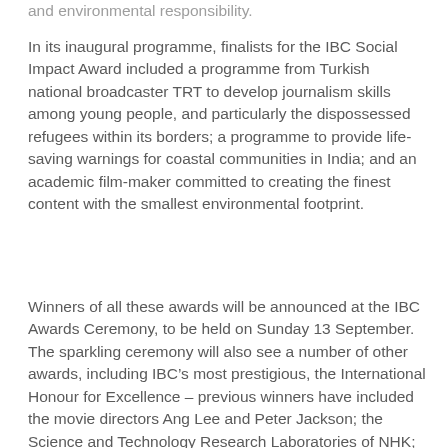and environmental responsibility.
In its inaugural programme, finalists for the IBC Social Impact Award included a programme from Turkish national broadcaster TRT to develop journalism skills among young people, and particularly the dispossessed refugees within its borders; a programme to provide life-saving warnings for coastal communities in India; and an academic film-maker committed to creating the finest content with the smallest environmental footprint.
Winners of all these awards will be announced at the IBC Awards Ceremony, to be held on Sunday 13 September. The sparkling ceremony will also see a number of other awards, including IBC's most prestigious, the International Honour for Excellence – previous winners have included the movie directors Ang Lee and Peter Jackson; the Science and Technology Research Laboratories of NHK; and Sir David Attenborough and Joan Ganz Cooney, the creator of